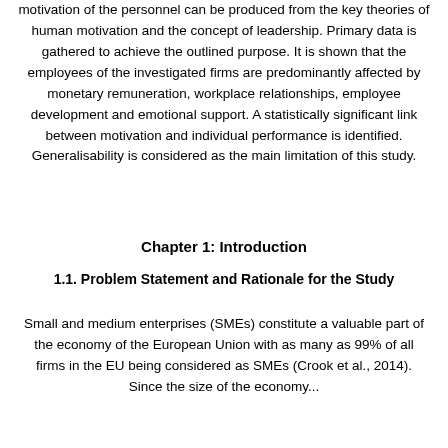motivation of the personnel can be produced from the key theories of human motivation and the concept of leadership. Primary data is gathered to achieve the outlined purpose. It is shown that the employees of the investigated firms are predominantly affected by monetary remuneration, workplace relationships, employee development and emotional support. A statistically significant link between motivation and individual performance is identified. Generalisability is considered as the main limitation of this study.
Chapter 1: Introduction
1.1. Problem Statement and Rationale for the Study
Small and medium enterprises (SMEs) constitute a valuable part of the economy of the European Union with as many as 99% of all firms in the EU being considered as SMEs (Crook et al., 2014). Since the size of the economy...